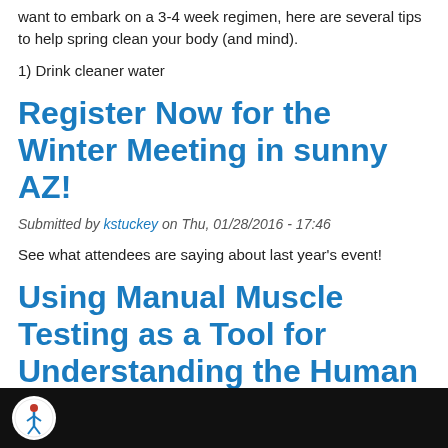want to embark on a 3-4 week regimen, here are several tips to help spring clean your body (and mind).
1) Drink cleaner water
Register Now for the Winter Meeting in sunny AZ!
Submitted by kstuckey on Thu, 01/28/2016 - 17:46
See what attendees are saying about last year's event!
Using Manual Muscle Testing as a Tool for Understanding the Human Body
Submitted by kstuckey on Thu, 01/28/2016 - 13:59
[Figure (photo): Dark banner with white circular logo containing a figure illustration]